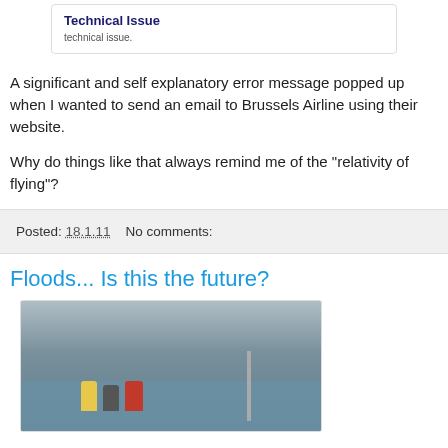[Figure (screenshot): A card/box showing 'Technical Issue' as bold heading and 'technical issue.' as subtitle text below]
A significant and self explanatory error message popped up when I wanted to send an email to Brussels Airline using their website.
Why do things like that always remind me of the "relativity of flying"?
Posted: 18.1.11    No comments:
Floods... Is this the future?
[Figure (photo): A flood scene photo showing people in water during heavy rain, with figures in high-visibility jackets, in a flooded street with a utility pole visible]